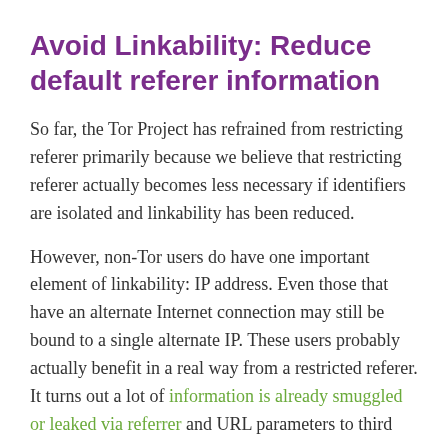Avoid Linkability: Reduce default referer information
So far, the Tor Project has refrained from restricting referer primarily because we believe that restricting referer actually becomes less necessary if identifiers are isolated and linkability has been reduced.
However, non-Tor users do have one important element of linkability: IP address. Even those that have an alternate Internet connection may still be bound to a single alternate IP. These users probably actually benefit in a real way from a restricted referer. It turns out a lot of information is already smuggled or leaked via referrer and URL parameters to third